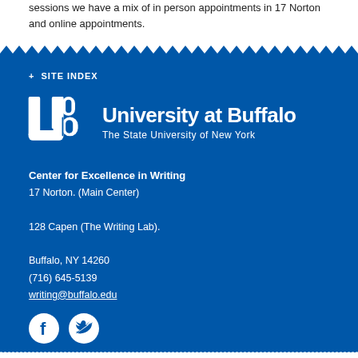sessions we have a mix of in person appointments in 17 Norton and online appointments.
+ SITE INDEX
[Figure (logo): University at Buffalo logo — UB shield mark with text 'University at Buffalo The State University of New York']
Center for Excellence in Writing
17 Norton. (Main Center)

128 Capen (The Writing Lab).

Buffalo, NY 14260
(716) 645-5139
writing@buffalo.edu
[Figure (other): Facebook and Twitter social media icons]
© 2022 University at Buffalo. All rights reserved. | Privacy | Accessibility